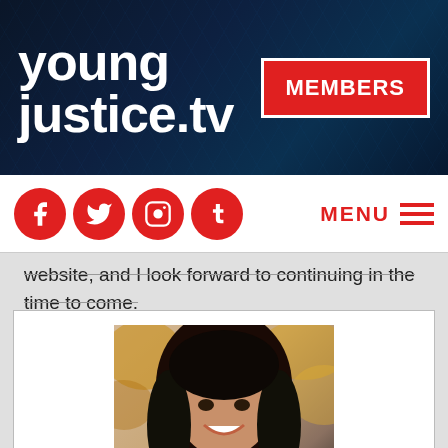[Figure (logo): Young Justice TV logo in white bold text on dark navy hexagonal background header]
MEMBERS
[Figure (infographic): Social media icons: Facebook, Twitter, Instagram, Tumblr - red circles with white icons]
MENU
website, and I look forward to continuing in the time to come.
[Figure (photo): Portrait photo of Ariel Horn, a young woman with long dark hair, smiling, with autumn foliage background]
Author: Ariel Horn
Website:
https://youngjustice.tv
Email: